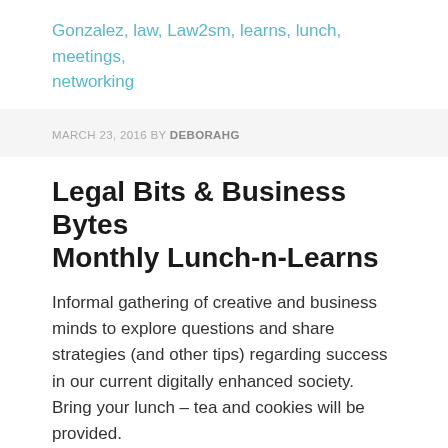Gonzalez, law, Law2sm, learns, lunch, meetings, networking
MARCH 23, 2016 BY DEBORAHG
Legal Bits & Business Bytes Monthly Lunch-n-Learns
Informal gathering of creative and business minds to explore questions and share strategies (and other tips) regarding success in our current digitally enhanced society. Bring your lunch – tea and cookies will be provided.
[Figure (photo): Partial photo of food or lunch setting visible at the bottom of the page]